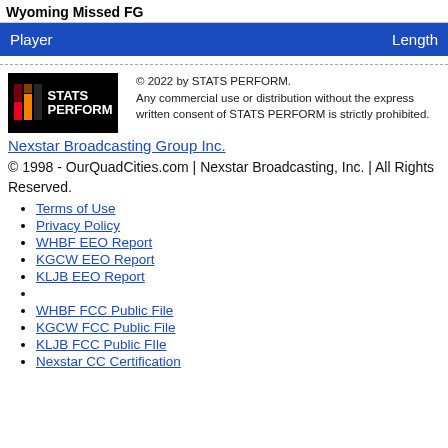Wyoming Missed FG
| Player | Length |
| --- | --- |
[Figure (logo): STATS PERFORM logo — black background with colored diagonal stripes and white bold text]
© 2022 by STATS PERFORM. Any commercial use or distribution without the express written consent of STATS PERFORM is strictly prohibited.
Nexstar Broadcasting Group Inc.
© 1998 - OurQuadCities.com | Nexstar Broadcasting, Inc. | All Rights Reserved.
Terms of Use
Privacy Policy
WHBF EEO Report
KGCW EEO Report
KLJB EEO Report
WHBF FCC Public File
KGCW FCC Public File
KLJB FCC Public FIle
Nexstar CC Certification